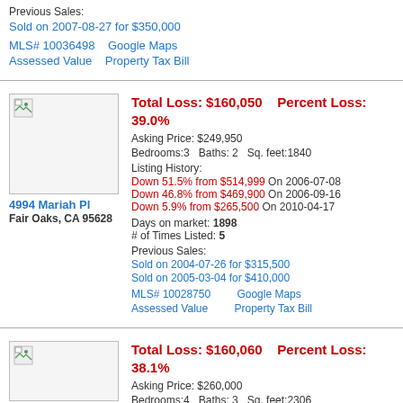Previous Sales:
Sold on 2007-08-27 for $350,000
MLS# 10036498   Google Maps
Assessed Value   Property Tax Bill
Total Loss: $160,050   Percent Loss: 39.0%
Asking Price: $249,950
Bedrooms:3  Baths: 2  Sq. feet:1840
Listing History:
Down 51.5% from $514,999 On 2006-07-08
Down 46.8% from $469,900 On 2006-09-16
Down 5.9% from $265,500 On 2010-04-17
Days on market: 1898
# of Times Listed: 5
Previous Sales:
Sold on 2004-07-26 for $315,500
Sold on 2005-03-04 for $410,000
MLS# 10028750   Google Maps
Assessed Value   Property Tax Bill
4994 Mariah Pl
Fair Oaks, CA 95628
Total Loss: $160,060   Percent Loss: 38.1%
Asking Price: $260,000
Bedrooms:4  Baths: 3  Sq. feet:2306